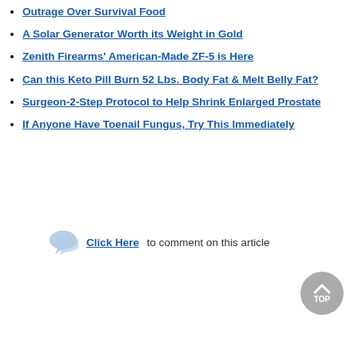Outrage Over Survival Food
A Solar Generator Worth its Weight in Gold
Zenith Firearms' American-Made ZF-5 is Here
Can this Keto Pill Burn 52 Lbs. Body Fat & Melt Belly Fat?
Surgeon-2-Step Protocol to Help Shrink Enlarged Prostate
If Anyone Have Toenail Fungus, Try This Immediately
Click Here to comment on this article
[Figure (illustration): Gray circular back-to-top button with up arrow chevron and 'TOP' text label]